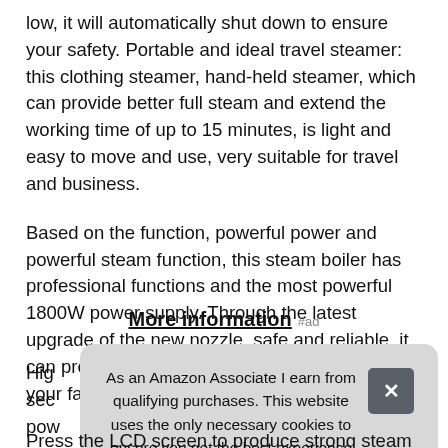low, it will automatically shut down to ensure your safety. Portable and ideal travel steamer: this clothing steamer, hand-held steamer, which can provide better full steam and extend the working time of up to 15 minutes, is light and easy to move and use, very suitable for travel and business.
Based on the function, powerful power and powerful steam function, this steam boiler has professional functions and the most powerful 1800W power supply. Through the latest upgrade of the new nozzle, safe and reliable, it can prevent water leakage, and easily restore your favorite clothing.
More information #ad
High... sec... pow... sec...
Press the LCD screen to produce strong steam
As an Amazon Associate I earn from qualifying purchases. This website uses the only necessary cookies to ensure you get the best experience on our website. More information